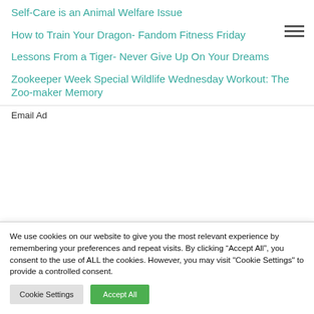Self-Care is an Animal Welfare Issue
How to Train Your Dragon- Fandom Fitness Friday
Lessons From a Tiger- Never Give Up On Your Dreams
Zookeeper Week Special Wildlife Wednesday Workout: The Zoo-maker Memory
Email Address
We use cookies on our website to give you the most relevant experience by remembering your preferences and repeat visits. By clicking “Accept All”, you consent to the use of ALL the cookies. However, you may visit "Cookie Settings" to provide a controlled consent.